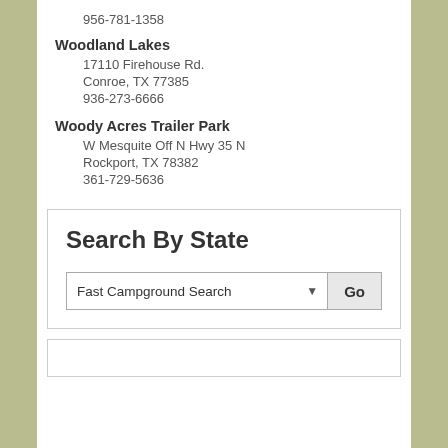956-781-1358
Woodland Lakes
17110 Firehouse Rd.
Conroe, TX 77385
936-273-6666
Woody Acres Trailer Park
W Mesquite Off N Hwy 35 N
Rockport, TX 78382
361-729-5636
Search By State
Fast Campground Search  Go